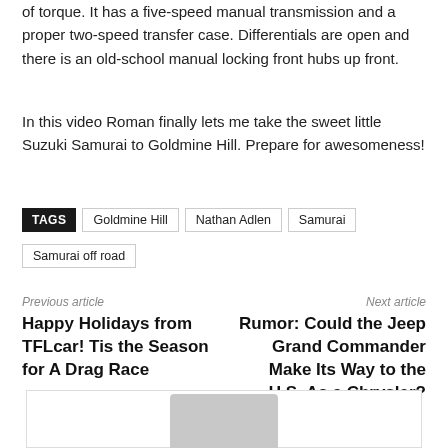of torque. It has a five-speed manual transmission and a proper two-speed transfer case. Differentials are open and there is an old-school manual locking front hubs up front.
In this video Roman finally lets me take the sweet little Suzuki Samurai to Goldmine Hill. Prepare for awesomeness!
TAGS   Goldmine Hill   Nathan Adlen   Samurai   Samurai off road
Previous article
Happy Holidays from TFLcar! Tis the Season for A Drag Race
Next article
Rumor: Could the Jeep Grand Commander Make Its Way to the U.S. As a Chrysler?
[Figure (illustration): Avatar/profile image placeholder with grey silhouette shape inside a bordered box]